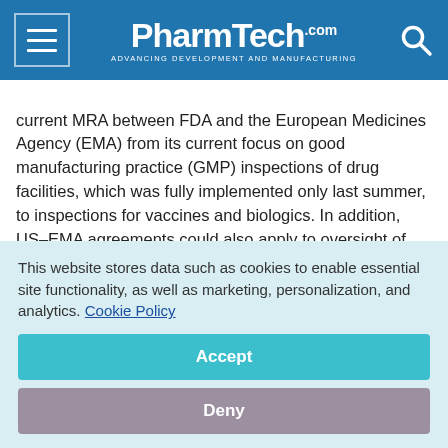PharmTech.com — ADVANCING DEVELOPMENT AND MANUFACTURING
current MRA between FDA and the European Medicines Agency (EMA) from its current focus on good manufacturing practice (GMP) inspections of drug facilities, which was fully implemented only last summer, to inspections for vaccines and biologics. In addition, US–EMA agreements could also apply to oversight of good clinical practices, laboratory testing, and pharmacovigilance.
The NASEM report, which was published Nov. 21, 2019, was
This website stores data such as cookies to enable essential site functionality, as well as marketing, personalization, and analytics. Cookie Policy
Accept
Deny